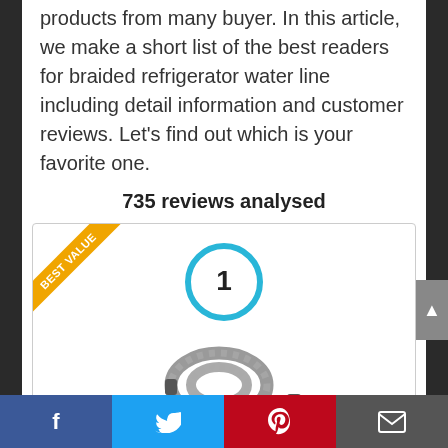products from many buyer. In this article, we make a short list of the best readers for braided refrigerator water line including detail information and customer reviews. Let's find out which is your favorite one.
735 reviews analysed
[Figure (infographic): Product card with 'BEST VALUE' ribbon badge in top-left corner, a blue circle with number '1' indicating rank, and a photo of a braided stainless steel refrigerator water line coiled up.]
[Figure (infographic): Social media share bar at the bottom with four buttons: Facebook (blue), Twitter (light blue), Pinterest (red), and Email (dark grey).]